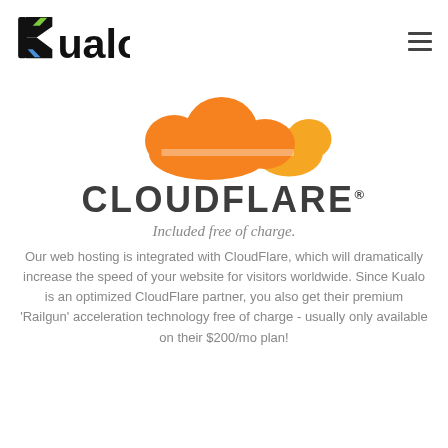[Figure (logo): Kualo logo — black bold wordmark with a stylized 'k' featuring green and blue accent colors]
[Figure (logo): Cloudflare logo — orange cloud illustration above the 'CLOUDFLARE®' wordmark in dark grey bold capitals]
Included free of charge.
Our web hosting is integrated with CloudFlare, which will dramatically increase the speed of your website for visitors worldwide. Since Kualo is an optimized CloudFlare partner, you also get their premium 'Railgun' acceleration technology free of charge - usually only available on their $200/mo plan!